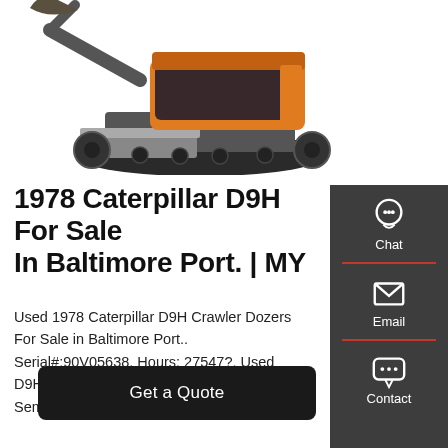[Figure (photo): Caterpillar D9H crawler dozer / mini excavator machine, orange and black, shown from the side with bucket arm and blade, on white background]
1978 Caterpillar D9H For Sale In Baltimore Port. | MY
Used 1978 Caterpillar D9H Crawler Dozers For Sale in Baltimore Port.. Serial#:90V05638, Hours: 27547?, Used D9H Cat Crawler Dozer For Sale: Erops, Semi U ...
[Figure (infographic): Dark sidebar panel with Chat (headset icon), Email (envelope icon), and Contact (speech bubble icon) buttons]
Get a Quote